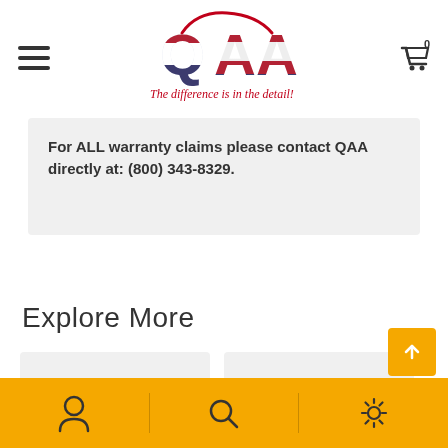[Figure (logo): QAA logo with red sports car silhouette above stylized 'QAA' letters with American flag pattern, tagline 'The difference is in the detail!' in red cursive]
For ALL warranty claims please contact QAA directly at: (800) 343-8329.
Explore More
[Figure (photo): Empty white/light grey product card placeholder (left)]
[Figure (photo): Empty white/light grey product card placeholder (right)]